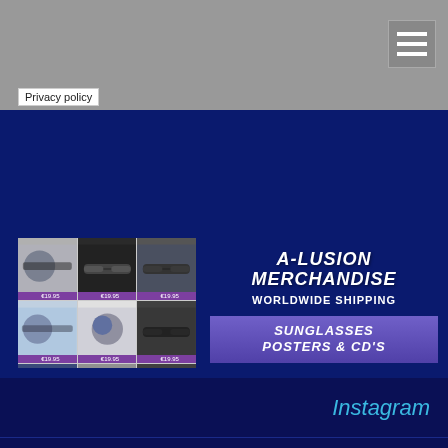Privacy policy
[Figure (infographic): A-Lusion Merchandise banner with product grid showing sunglasses, posters and CDs, with worldwide shipping text and Visit Store button]
Instagram
Facebook
Twitter
YouTube